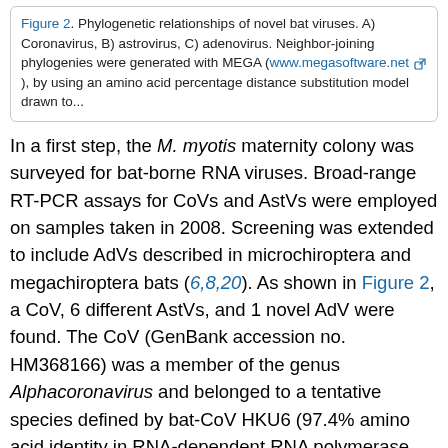Figure 2. Phylogenetic relationships of novel bat viruses. A) Coronavirus, B) astrovirus, C) adenovirus. Neighbor-joining phylogenies were generated with MEGA (www.megasoftware.net), by using an amino acid percentage distance substitution model drawn to...
In a first step, the M. myotis maternity colony was surveyed for bat-borne RNA viruses. Broad-range RT-PCR assays for CoVs and AstVs were employed on samples taken in 2008. Screening was extended to include AdVs described in microchiroptera and megachiroptera bats (6,8,20). As shown in Figure 2, a CoV, 6 different AstVs, and 1 novel AdV were found. The CoV (GenBank accession no. HM368166) was a member of the genus Alphacoronavirus and belonged to a tentative species defined by bat-CoV HKU6 (97.4% amino acid identity in RNA-dependent RNA polymerase [RdRp], typing criteria as defined in [9]). The 6 different mamastroviruses (GenBank accession nos. HM368168–HM368175) clustered